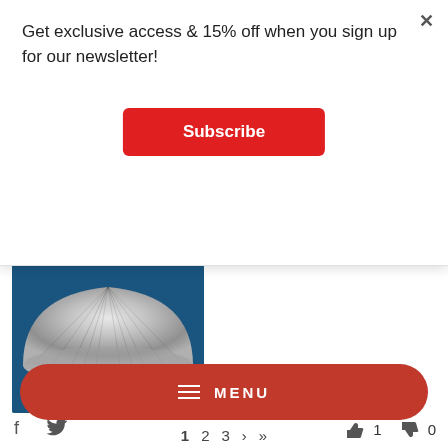Get exclusive access & 15% off when you sign up for our newsletter!
Subscribe
[Figure (photo): Silver/chrome dome-shaped product (loose powder container) against blue background]
f  (twitter icon)  👍 1  👎 0
★★★★★ 03/05/2022 about Palace Identity Reindeer Loose Powder
d c
I've tried at least a dozen setting powders and this one rivals the high end brands.
MENU
1  2  3  >  >|